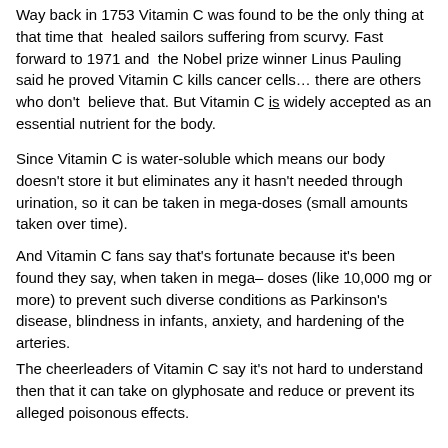Way back in 1753 Vitamin C was found to be the only thing at that time that healed sailors suffering from scurvy. Fast forward to 1971 and the Nobel prize winner Linus Pauling said he proved Vitamin C kills cancer cells… there are others who don't believe that. But Vitamin C is widely accepted as an essential nutrient for the body.
Since Vitamin C is water-soluble which means our body doesn't store it but eliminates any it hasn't needed through urination, so it can be taken in mega-doses (small amounts taken over time).
And Vitamin C fans say that's fortunate because it's been found they say, when taken in mega– doses (like 10,000 mg or more) to prevent such diverse conditions as Parkinson's disease, blindness in infants, anxiety, and hardening of the arteries.
The cheerleaders of Vitamin C say it's not hard to understand then that it can take on glyphosate and reduce or prevent its alleged poisonous effects.
And in high enough doses, it's been said that Vitamin C has shown an ability to reverse the depletion of glutathione that glyphosate is believed to cause.
Glyphosate is so widely used it's very hard to avoid it in one's food